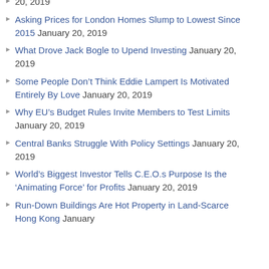20, 2019
Asking Prices for London Homes Slump to Lowest Since 2015 January 20, 2019
What Drove Jack Bogle to Upend Investing January 20, 2019
Some People Don’t Think Eddie Lampert Is Motivated Entirely By Love January 20, 2019
Why EU’s Budget Rules Invite Members to Test Limits January 20, 2019
Central Banks Struggle With Policy Settings January 20, 2019
World’s Biggest Investor Tells C.E.O.s Purpose Is the ‘Animating Force’ for Profits January 20, 2019
Run-Down Buildings Are Hot Property in Land-Scarce Hong Kong January